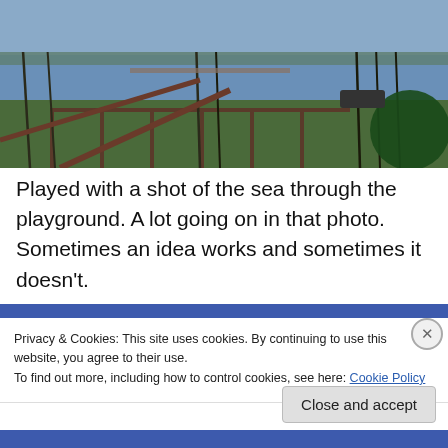[Figure (photo): Photograph of a coastal scene viewed through tall grasses and playground equipment, with a pier and water visible in the background.]
Played with a shot of the sea through the playground. A lot going on in that photo. Sometimes an idea works and sometimes it doesn't.
Privacy & Cookies: This site uses cookies. By continuing to use this website, you agree to their use.
To find out more, including how to control cookies, see here: Cookie Policy
Close and accept